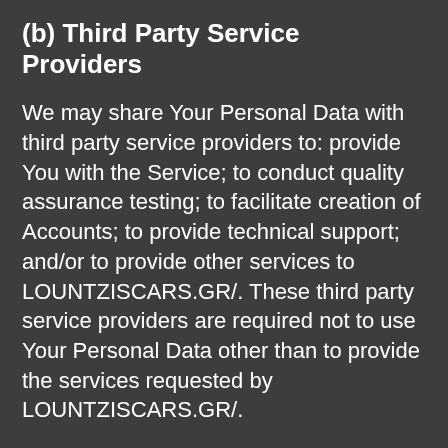(b) Third Party Service Providers
We may share Your Personal Data with third party service providers to: provide You with the Service; to conduct quality assurance testing; to facilitate creation of Accounts; to provide technical support; and/or to provide other services to LOUNTZISCARS.GR/. These third party service providers are required not to use Your Personal Data other than to provide the services requested by LOUNTZISCARS.GR/.
(c) Affiliates